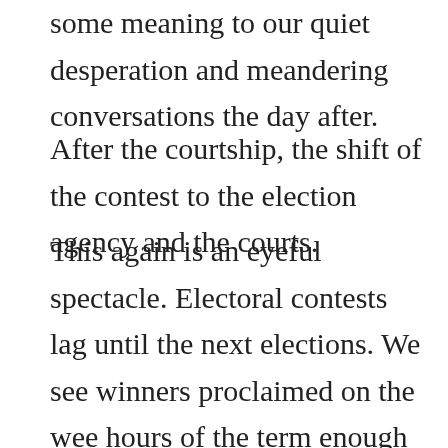surprise of our lives. He lifted up and placed some meaning to our quiet desperation and meandering conversations the day after.
After the courtship, the shift of the contest to the election agency and the courts.
This again is an eyeful spectacle. Electoral contests lag until the next elections. We see winners proclaimed on the wee hours of the term enough to change the portraits hanging on the walls. The whole yards of three years look just 100-meter dash, over and over again, until we realize we lost a generation. By next year we celebrate the 22nd anniversary of